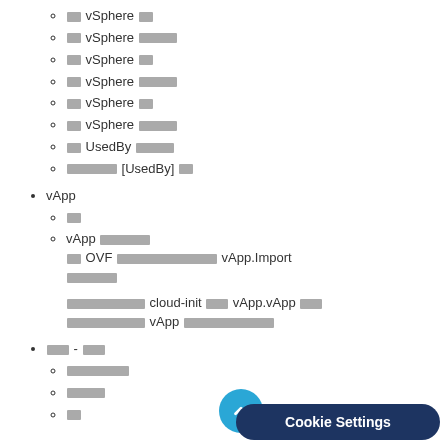[redacted] vSphere [redacted]
[redacted] vSphere [redacted]
[redacted] vSphere [redacted]
[redacted] vSphere [redacted]
[redacted] vSphere [redacted]
[redacted] vSphere [redacted]
[redacted] UsedBy [redacted]
[redacted] [UsedBy] [redacted]
vApp
[redacted]
vApp [redacted] [redacted] OVF [redacted] vApp.Import [redacted]
[redacted] cloud-init [redacted] vApp.vApp [redacted] [redacted] vApp [redacted]
[redacted] - [redacted]
[redacted]
[redacted]
[redacted]